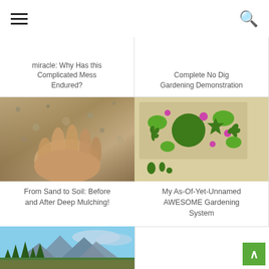Navigation header with hamburger menu and search icon
miracle: Why Has this Complicated Mess Endured?
Complete No Dig Gardening Demonstration
[Figure (photo): Hand holding sandy/gravelly soil - before deep mulching]
From Sand to Soil: Before and After Deep Mulching!
[Figure (illustration): Garden planting diagram with green plant icons and pink dots on tan/beige background]
My As-Of-Yet-Unnamed AWESOME Gardening System
[Figure (photo): Mountain landscape with pine trees and autumn foliage]